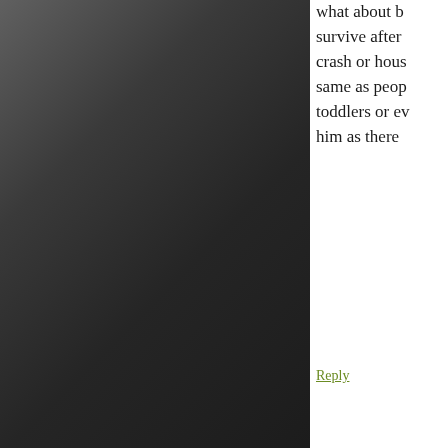what about b... survive after... crash or hous... same as peop... toddlers or ev... him as there...
Reply
[Figure (illustration): Green decorative floral/snowflake ornament avatar icon]